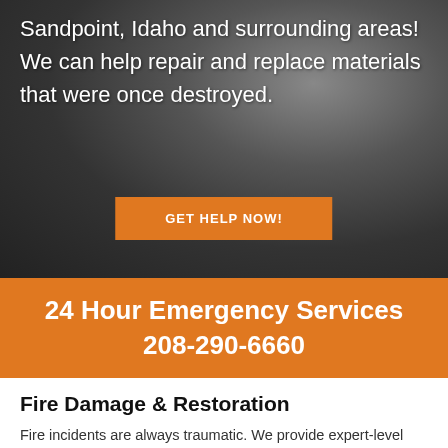Sandpoint, Idaho and surrounding areas! We can help repair and replace materials that were once destroyed.
GET HELP NOW!
24 Hour Emergency Services 208-290-6660
Fire Damage & Restoration
Fire incidents are always traumatic. We provide expert-level Fire Restoration Sandpoint Id services to businesses and